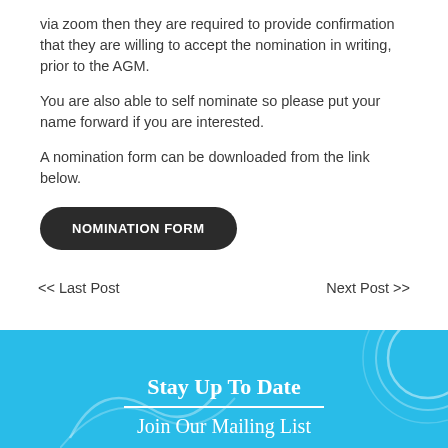via zoom then they are required to provide confirmation that they are willing to accept the nomination in writing, prior to the AGM.
You are also able to self nominate so please put your name forward if you are interested.
A nomination form can be downloaded from the link below.
NOMINATION FORM
<< Last Post
Next Post >>
Stay Up To Date
Join Our Mailing List